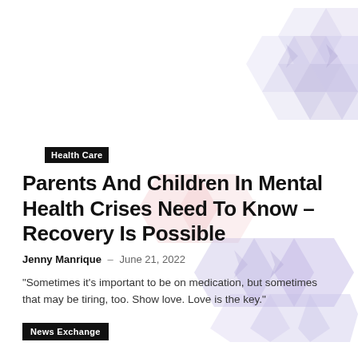[Figure (illustration): Decorative hexagon pattern in purple/lavender tones in the top-right corner]
[Figure (illustration): Decorative hexagon pattern in pink, lavender, and purple tones in the bottom-right corner]
Health Care
Parents And Children In Mental Health Crises Need To Know – Recovery Is Possible
Jenny Manrique – June 21, 2022
“Sometimes it’s important to be on medication, but sometimes that may be tiring, too. Show love. Love is the key.”
News Exchange